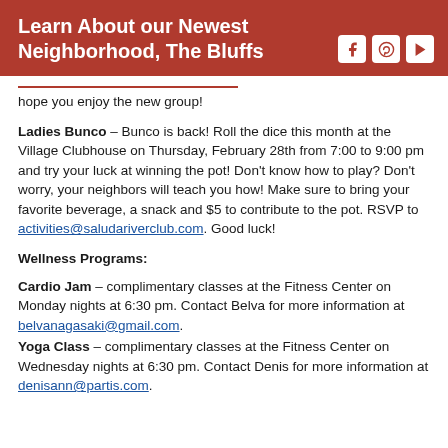Learn About our Newest Neighborhood, The Bluffs
hope you enjoy the new group!
Ladies Bunco – Bunco is back! Roll the dice this month at the Village Clubhouse on Thursday, February 28th from 7:00 to 9:00 pm and try your luck at winning the pot! Don't know how to play? Don't worry, your neighbors will teach you how! Make sure to bring your favorite beverage, a snack and $5 to contribute to the pot. RSVP to activities@saludariverclub.com. Good luck!
Wellness Programs:
Cardio Jam – complimentary classes at the Fitness Center on Monday nights at 6:30 pm. Contact Belva for more information at belvanagasaki@gmail.com.
Yoga Class – complimentary classes at the Fitness Center on Wednesday nights at 6:30 pm. Contact Denis for more information at denisann@partis.com.